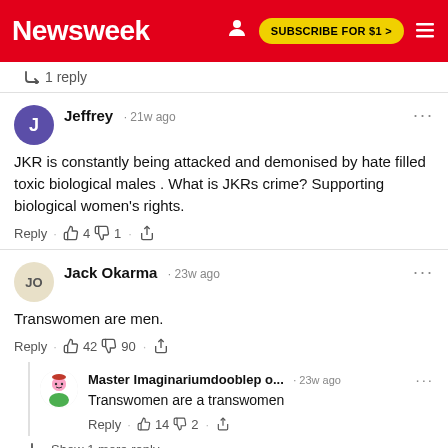Newsweek | SUBSCRIBE FOR $1 >
↳ 1 reply
Jeffrey · 21w ago
JKR is constantly being attacked and demonised by hate filled toxic biological males . What is JKRs crime? Supporting biological women's rights.
Reply · 👍 4 👎 1 · Share
Jack Okarma · 23w ago
Transwomen are men.
Reply · 👍 42 👎 90 · Share
Master Imaginariumdooblep o... · 23w ago
Transwomen are a transwomen
Reply · 👍 14 👎 2 · Share
↳ Show 1 more reply